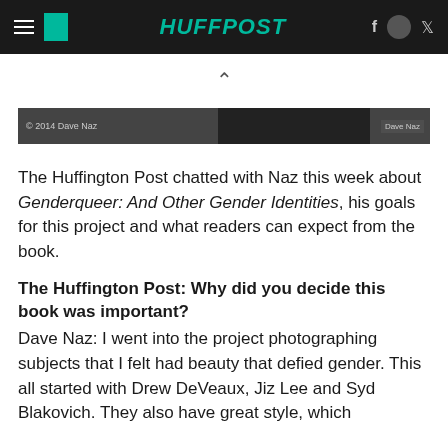HuffPost navigation bar
[Figure (photo): Dark image strip with copyright label '© 2014 Dave Naz' on left and 'Dave Naz' credit box on right]
The Huffington Post chatted with Naz this week about Genderqueer: And Other Gender Identities, his goals for this project and what readers can expect from the book.
The Huffington Post: Why did you decide this book was important?
Dave Naz: I went into the project photographing subjects that I felt had beauty that defied gender. This all started with Drew DeVeaux, Jiz Lee and Syd Blakovich. They also have great style, which